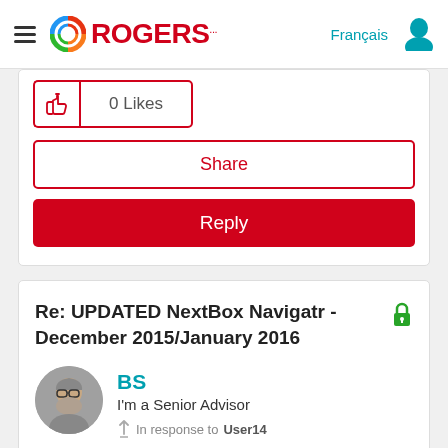Rogers — Français
[Figure (screenshot): 0 Likes button with thumbs up icon and count]
Share
Reply
Re: UPDATED NextBox Navigatr - December 2015/January 2016
[Figure (photo): User avatar photo of BS, an older man with glasses and beard]
BS
I'm a Senior Advisor
In response to User14